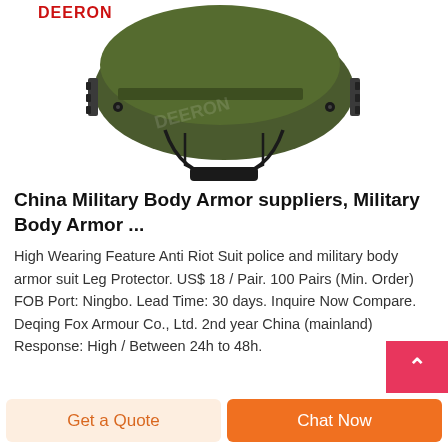[Figure (photo): A military tactical helmet in olive/dark green color, shown from the front-top angle, with rail attachments on sides and a chin strap harness visible underneath. A faint watermark logo is visible on the helmet surface.]
China Military Body Armor suppliers, Military Body Armor ...
High Wearing Feature Anti Riot Suit police and military body armor suit Leg Protector. US$ 18 / Pair. 100 Pairs (Min. Order) FOB Port: Ningbo. Lead Time: 30 days. Inquire Now Compare. Deqing Fox Armour Co., Ltd. 2nd year China (mainland) Response: High / Between 24h to 48h.